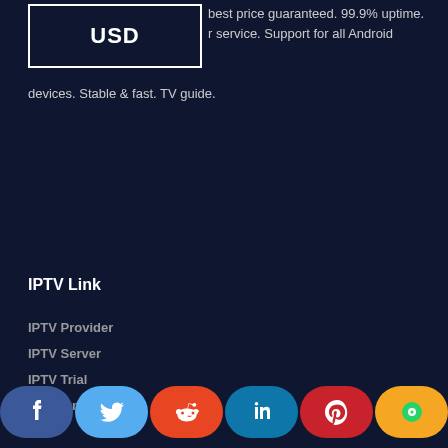[Figure (other): USD currency selector box with white border]
best price guaranteed. 99.9% uptime. r service. Support for all Android devices. Stable & fast. TV guide.
IPTV Link
IPTV Provider
IPTV Server
IPTV Trial
Premium IPTV Trial
IPTV APK
[Figure (other): Social media share buttons: Facebook, Twitter, Reddit, LinkedIn, Pinterest, Line]